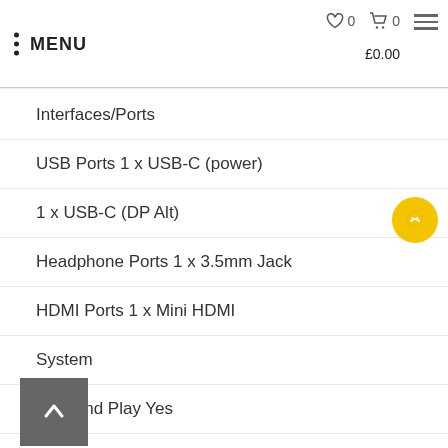MENU  ♡0  🛒0  £0.00
Interfaces/Ports
USB Ports 1 x USB-C (power)
1 x USB-C (DP Alt)
Headphone Ports 1 x 3.5mm Jack
HDMI Ports 1 x Mini HDMI
System
Plug and Play Yes
Electrical
Adaptor Type External USB
Power Supply Yes